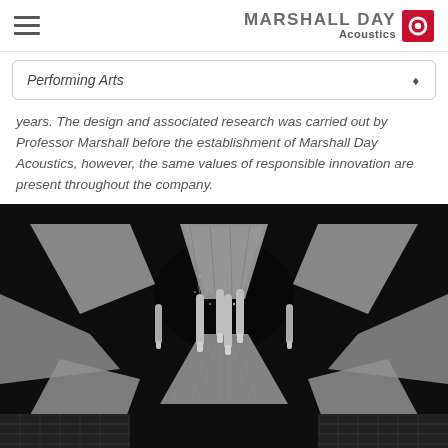MARSHALL DAY Acoustics
Performing Arts
years. The design and associated research was carried out by Professor Marshall before the establishment of Marshall Day Acoustics, however, the same values of responsible innovation are present throughout the company.
[Figure (photo): Black and white photograph of a concert hall ceiling viewed from below, showing geometric acoustic panels radiating outward from center, cylindrical pendant light fixtures hanging down, and tiered seating visible at the bottom edges.]